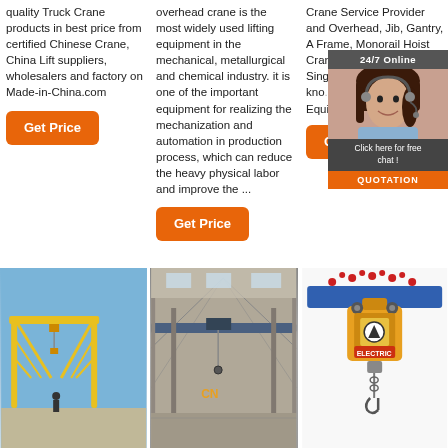quality Truck Crane products in best price from certified Chinese Crane, China Lift suppliers, wholesalers and factory on Made-in-China.com
Get Price
overhead crane is the most widely used lifting equipment in the mechanical, metallurgical and chemical industry. it is one of the important equipment for realizing the mechanization and automation in production process, which can reduce the heavy physical labor and improve the ...
Get Price
Crane Service Provider and Overhead, Jib, Gantry, A Frame, Monorail Hoist Crane lifting eq... supplie... Singapo... and Sou... We kno... wasted Cranes Equipm... is mone...
Get Price
[Figure (screenshot): 24/7 Online chat overlay with a customer service representative photo, 'Click here for free chat!' text, and QUOTATION button]
[Figure (photo): Yellow gantry crane against blue sky]
[Figure (photo): Interior of industrial building with overhead crane]
[Figure (photo): Yellow electric chain hoist with red dot pattern decoration]